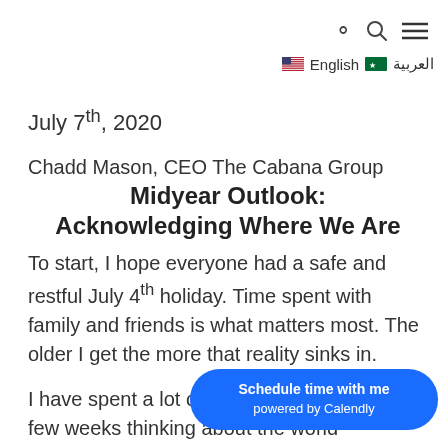🔍 ≡ 🇺🇸 English 🇸🇦 العربية
July 7th, 2020
Chadd Mason, CEO The Cabana Group
Midyear Outlook: Acknowledging Where We Are
To start, I hope everyone had a safe and restful July 4th holiday. Time spent with family and friends is what matters most. The older I get the more that reality sinks in.
I have spent a lot o… few weeks thinking about the world